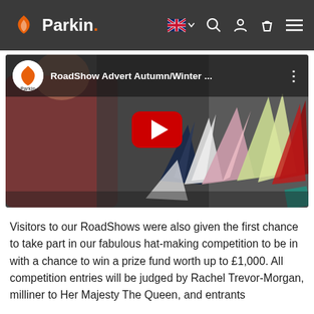Parkin. [navigation: UK flag, search, account, cart, menu]
[Figure (screenshot): YouTube video thumbnail showing origami paper cranes/figures in various colors with a YouTube play button overlay. Video title: RoadShow Advert Autumn/Winter ... with Parkin channel logo.]
Visitors to our RoadShows were also given the first chance to take part in our fabulous hat-making competition to be in with a chance to win a prize fund worth up to £1,000. All competition entries will be judged by Rachel Trevor-Morgan, milliner to Her Majesty The Queen, and entrants